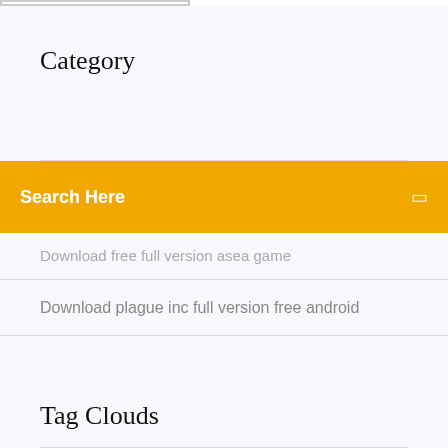Category
Download free full version asea game
Download plague inc full version free android
Tag Clouds